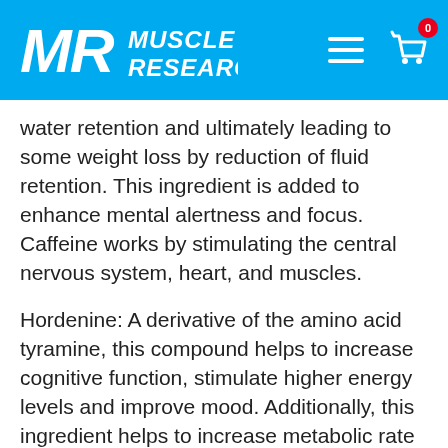MR MUSCLE RESEARCH
water retention and ultimately leading to some weight loss by reduction of fluid retention. This ingredient is added to enhance mental alertness and focus. Caffeine works by stimulating the central nervous system, heart, and muscles.
Hordenine: A derivative of the amino acid tyramine, this compound helps to increase cognitive function, stimulate higher energy levels and improve mood. Additionally, this ingredient helps to increase metabolic rate while aiding in appetite suppression.
Synephrine HCL: This ingredient is very similar